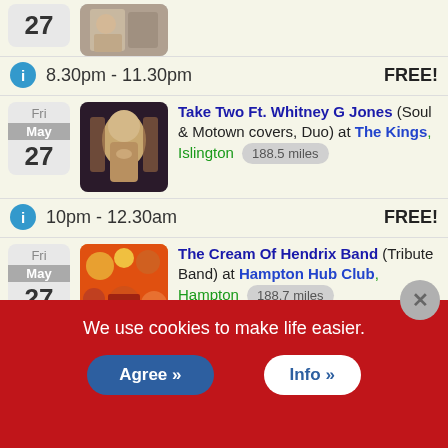[Figure (photo): Partial date box showing 27, and a partial photo thumbnail of a performer]
8.30pm - 11.30pm   FREE!
[Figure (photo): Date box: Fri May 27, photo of Whitney G Jones singing]
Take Two Ft. Whitney G Jones (Soul & Motown covers, Duo) at The Kings, Islington 188.5 miles
10pm - 12.30am   FREE!
[Figure (photo): Date box: Fri May 27, album-style colorful photo for The Cream Of Hendrix Band]
The Cream Of Hendrix Band (Tribute Band) at Hampton Hub Club, Hampton 188.7 miles
We use cookies to make life easier.
Agree »
Info »